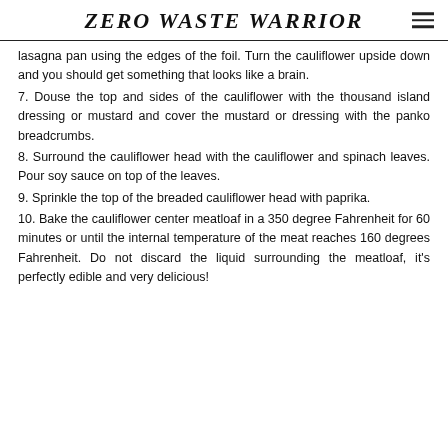ZERO WASTE WARRIOR
lasagna pan using the edges of the foil. Turn the cauliflower upside down and you should get something that looks like a brain.
7. Douse the top and sides of the cauliflower with the thousand island dressing or mustard and cover the mustard or dressing with the panko breadcrumbs.
8. Surround the cauliflower head with the cauliflower and spinach leaves. Pour soy sauce on top of the leaves.
9. Sprinkle the top of the breaded cauliflower head with paprika.
10. Bake the cauliflower center meatloaf in a 350 degree Fahrenheit for 60 minutes or until the internal temperature of the meat reaches 160 degrees Fahrenheit. Do not discard the liquid surrounding the meatloaf, it's perfectly edible and very delicious!